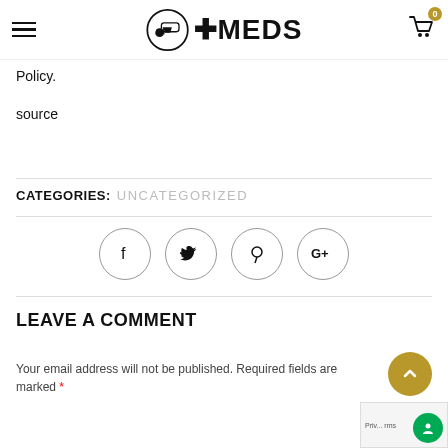ePlusMEDS — navigation header with logo and cart
Policy.
source
CATEGORIES: UNCATEGORIZED
[Figure (other): Social share buttons: Facebook, Twitter, Pinterest, Google+]
LEAVE A COMMENT
Your email address will not be published. Required fields are marked *